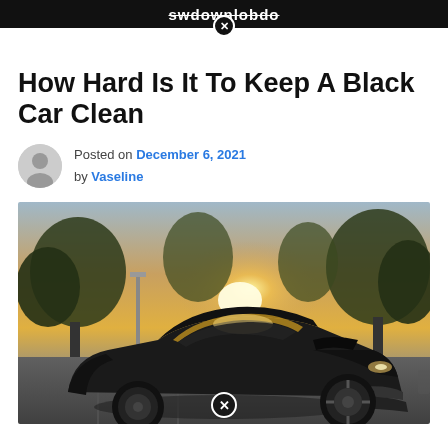swdownlobdo
How Hard Is It To Keep A Black Car Clean
Posted on December 6, 2021 by Vaseline
[Figure (photo): A black Ford Mustang sports car parked in a parking lot at sunset, with trees in the background and golden light flaring through the windshield area.]